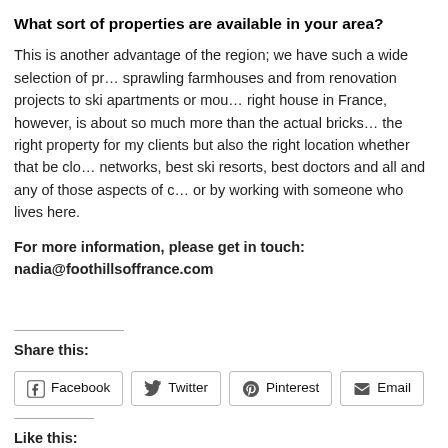What sort of properties are available in your area?
This is another advantage of the region; we have such a wide selection of properties from sprawling farmhouses and from renovation projects to ski apartments or mountain chalets. Finding the right house in France, however, is about so much more than the actual bricks and mortar. I source not just the right property for my clients but also the right location whether that be close to great expat networks, best ski resorts, best doctors and all and any of those aspects of daily life that you can only find out by working with someone who lives here.
For more information, please get in touch: nadia@foothillsoffrance.com
Share this:
Facebook  Twitter  Pinterest  Email
Like this: